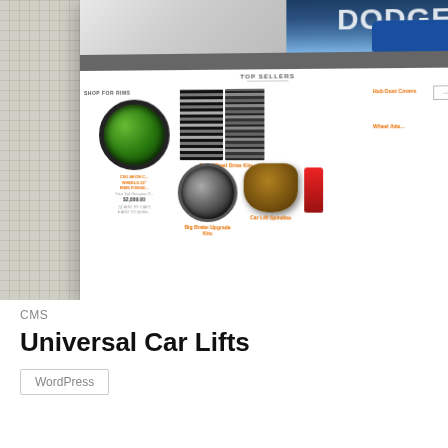[Figure (screenshot): Screenshot of Universal Car Lifts e-commerce website showing a car parts store with sections for Top Sellers, Shop for Rims, Rear Wheel Drive Kits, Big Brake Upgrade Kits, Car Lift Spindles, and Hub Dust Covers. Features images of green rims, suspension parts, brake rotors, and metal spindle components. Orange text labels throughout on white background.]
CMS
Universal Car Lifts
WordPress